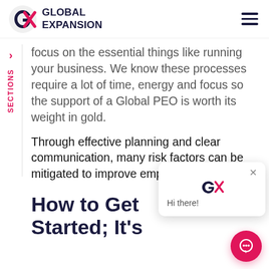GLOBAL EXPANSION
focus on the essential things like running your business. We know these processes require a lot of time, energy and focus so the support of a Global PEO is worth its weight in gold.
Through effective planning and clear communication, many risk factors can be mitigated to improve employee retention.
How to Get Started; It's
[Figure (screenshot): Chat popup widget with GX logo and 'Hi there!' greeting message, with close X button]